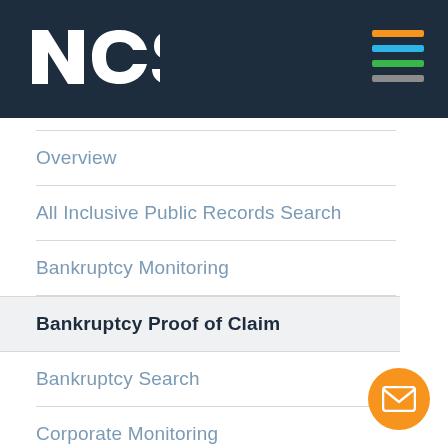[Figure (logo): NCS logo in white on dark navy header bar]
Overview
All Inclusive Public Records Search
Bankruptcy Monitoring
Bankruptcy Proof of Claim
Bankruptcy Search
Corporate Monitoring
Credit Reporting
OnDemand Webinars